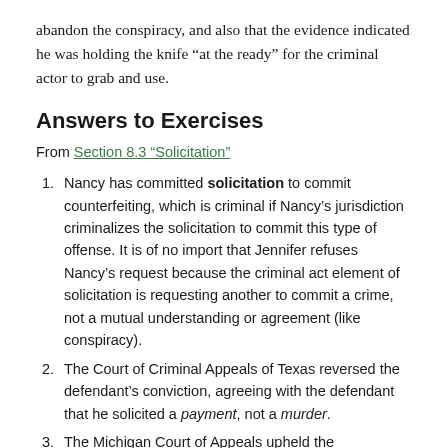abandon the conspiracy, and also that the evidence indicated he was holding the knife “at the ready” for the criminal actor to grab and use.
Answers to Exercises
From Section 8.3 "Solicitation"
Nancy has committed solicitation to commit counterfeiting, which is criminal if Nancy’s jurisdiction criminalizes the solicitation to commit this type of offense. It is of no import that Jennifer refuses Nancy’s request because the criminal act element of solicitation is requesting another to commit a crime, not a mutual understanding or agreement (like conspiracy).
The Court of Criminal Appeals of Texas reversed the defendant’s conviction, agreeing with the defendant that he solicited a payment, not a murder.
The Michigan Court of Appeals upheld the defendant’s